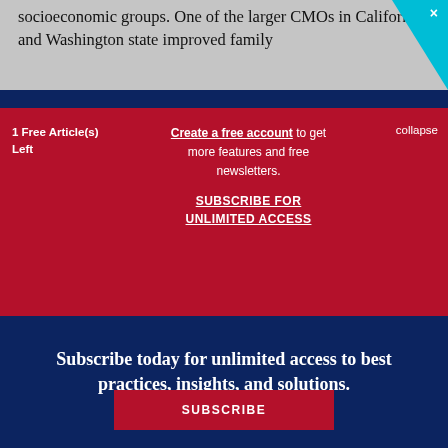socioeconomic groups. One of the larger CMOs in California and Washington state improved family
1 Free Article(s) Left
Create a free account to get more features and free newsletters.
SUBSCRIBE FOR UNLIMITED ACCESS
collapse
Subscribe today for unlimited access to best practices, insights, and solutions.
SUBSCRIBE